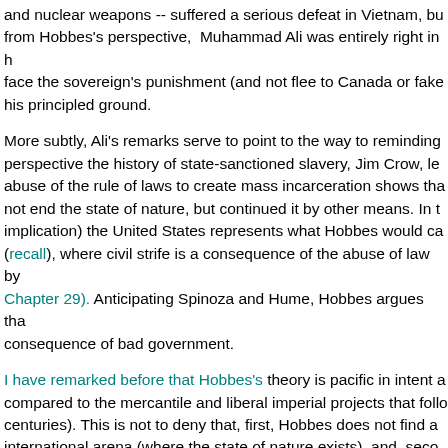and nuclear weapons -- suffered a serious defeat in Vietnam, bu from Hobbes's perspective, Muhammad Ali was entirely right in h face the sovereign's punishment (and not flee to Canada or fake his principled ground.
More subtly, Ali's remarks serve to point to the way to reminding perspective the history of state-sanctioned slavery, Jim Crow, le abuse of the rule of laws to create mass incarceration shows tha not end the state of nature, but continued it by other means. In t implication) the United States represents what Hobbes would ca (recall), where civil strife is a consequence of the abuse of law by Chapter 29). Anticipating Spinoza and Hume, Hobbes argues tha consequence of bad government.
I have remarked before that Hobbes's theory is pacific in intent a compared to the mercantile and liberal imperial projects that follo centuries). This is not to deny that, first, Hobbes does not find a international arena (where the state of nature exists), and, seco project has problematic, absolutists elements (and famously den failures lead to abuses. But it is wrong to attribute to Hobbes th should defer to the state and ought not decide their own fate wh